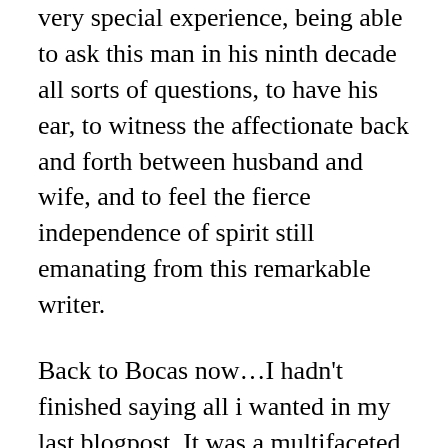very special experience, being able to ask this man in his ninth decade all sorts of questions, to have his ear, to witness the affectionate back and forth between husband and wife, and to feel the fierce independence of spirit still emanating from this remarkable writer.
Back to Bocas now…I hadn't finished saying all i wanted in my last blogpost. It was a multifaceted festival, culminating in the award of the OCM Bocas Prize for Caribbean Literature. There were 60 entries and three were shortlisted in each category: poetry, fiction and literary non-fiction. Derek Walcott took the prize for his White Egrets. I felt divided about younger, writers having to compete with the likes of Walcott and Naipaul